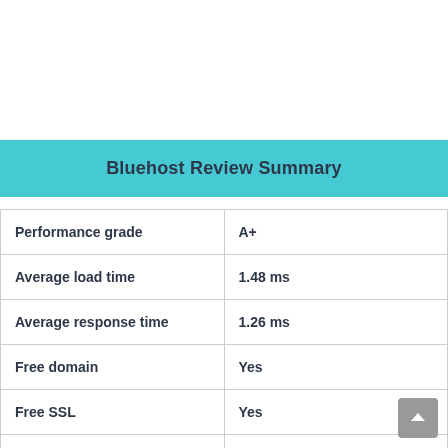Bluehost Review Summary
| Performance grade | A+ |
| Average load time | 1.48 ms |
| Average response time | 1.26 ms |
| Free domain | Yes |
| Free SSL | Yes |
| 1-click WordPress | Yes |